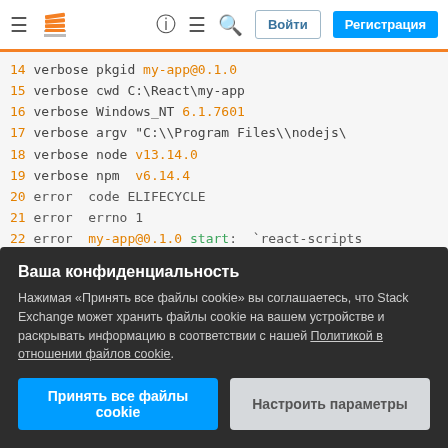Stack Overflow navigation bar with login and register buttons
[Figure (screenshot): Code block showing npm verbose/error output lines 14-22+]
win7 x64 И node.js переустанавливал несколько раз и само приложение, уже что только не делал
Ваша конфиденциальность
Нажимая «Принять все файлы cookie» вы соглашаетесь, что Stack Exchange может хранить файлы cookie на вашем устройстве и раскрывать информацию в соответствии с нашей Политикой в отношении файлов cookie.